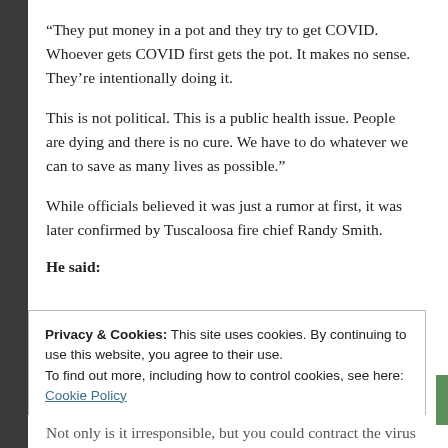“They put money in a pot and they try to get COVID. Whoever gets COVID first gets the pot. It makes no sense. They’re intentionally doing it.
This is not political. This is a public health issue. People are dying and there is no cure. We have to do whatever we can to save as many lives as possible.”
While officials believed it was just a rumor at first, it was later confirmed by Tuscaloosa fire chief Randy Smith.
He said:
Privacy & Cookies: This site uses cookies. By continuing to use this website, you agree to their use.
To find out more, including how to control cookies, see here: Cookie Policy
[Close and accept button]
Not only is it irresponsible, but you could contract the virus